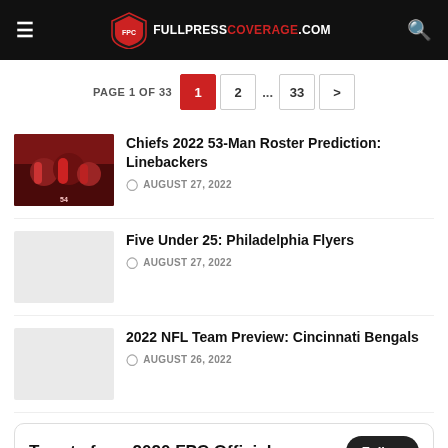FULLPRESSCOVERAGE.COM
PAGE 1 OF 33  1  2  ...  33  >
Chiefs 2022 53-Man Roster Prediction: Linebackers
AUGUST 27, 2022
Five Under 25: Philadelphia Flyers
AUGUST 27, 2022
2022 NFL Team Preview: Cincinnati Bengals
AUGUST 26, 2022
Tweets from 2020 FPC Official
Follow